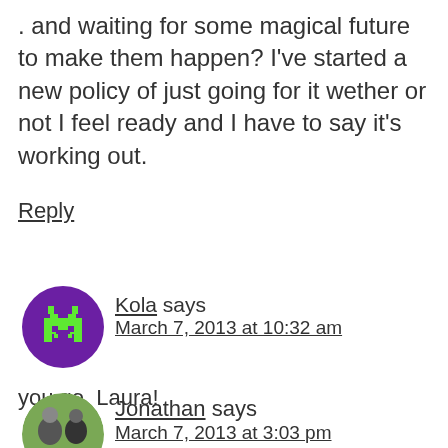. and waiting for some magical future to make them happen? I've started a new policy of just going for it wether or not I feel ready and I have to say it's working out.
Reply
[Figure (illustration): Purple circle avatar with green pixel space invader alien character]
Kola says March 7, 2013 at 10:32 am
you go, Laura!
[Figure (photo): Circular profile photo of Jonathan showing two people]
Jonathan says March 7, 2013 at 3:03 pm